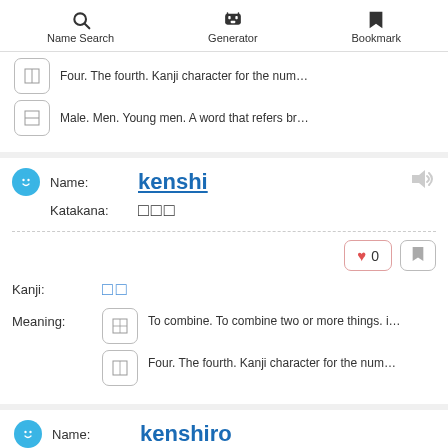Name Search | Generator | Bookmark
Four. The fourth. Kanji character for the num…
Male. Men. Young men. A word that refers br…
Name: kenshi
Katakana: □□□
❤ 0  🔖
Kanji: □□
Meaning: To combine. To combine two or more things. i…
Meaning: Four. The fourth. Kanji character for the num…
Name: kenshiro